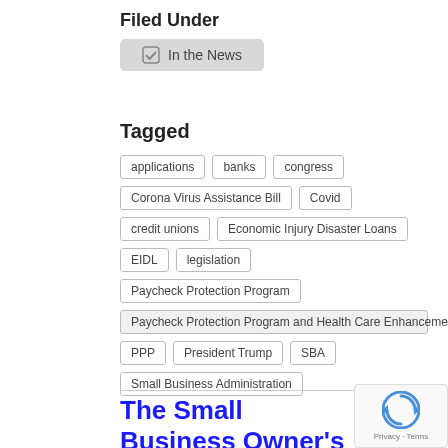Filed Under
In the News
Tagged
applications
banks
congress
Corona Virus Assistance Bill
Covid
credit unions
Economic Injury Disaster Loans
EIDL
legislation
Paycheck Protection Program
Paycheck Protection Program and Health Care Enhancement Act
PPP
President Trump
SBA
Small Business Administration
The Small Business Owner's Guide to the CARES Act